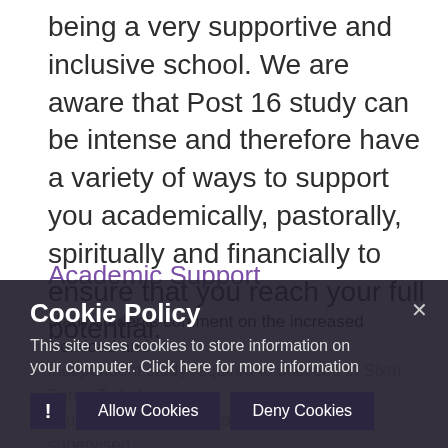being a very supportive and inclusive school. We are aware that Post 16 study can be intense and therefore have a variety of ways to support you academically, pastorally, spiritually and financially to ensure that you reach your full potential.
Academic Support
Many students comment on the increased workload and independent study required to succeed in Sixth Form. To help you the school is able to provide you with supervised study sessions in school giving our students the opportunity for independent work in our dedicated study room. Study support sessions are available to any of
[Figure (screenshot): Cookie Policy popup overlay with dark background. Title: 'Cookie Policy'. Body text: 'This site uses cookies to store information on your computer. Click here for more information'. Buttons: 'Allow Cookies' and 'Deny Cookies'. Close button (x) at top right. Warning icon (!) at bottom left.]